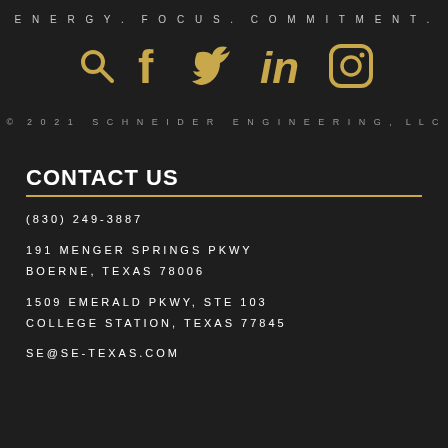ENERGY. FOCUS. COMMITMENT.
[Figure (infographic): Row of 5 social media icons in gold: search/magnifier, Facebook, Twitter, LinkedIn, Instagram]
© 2021 SCHNEIDER ENGINEERING, LLC
CONTACT US
(830) 249-3887
191 MENGER SPRINGS PKWY
BOERNE, TEXAS 78006
1509 EMERALD PKWY, STE 103
COLLEGE STATION, TEXAS 77845
SE@SE-TEXAS.COM